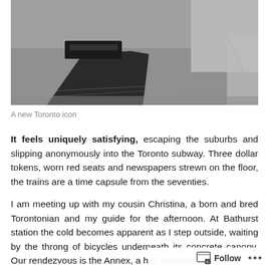[Figure (photo): Black and white/grayscale photograph of a Toronto public space, showing a dark angular sculptural structure or kiosk with what appears to be a Hershey's or similar branded top, set against a wide paved plaza area and glass building facade.]
A new Toronto icon
It feels uniquely satisfying, escaping the suburbs and slipping anonymously into the Toronto subway. Three dollar tokens, worn red seats and newspapers strewn on the floor, the trains are a time capsule from the seventies.
I am meeting up with my cousin Christina, a born and bred Torontonian and my guide for the afternoon. At Bathurst station the cold becomes apparent as I step outside, waiting by the throng of bicycles underneath its concrete canopy. Our rendezvous is the Annex, a hip, bohemian